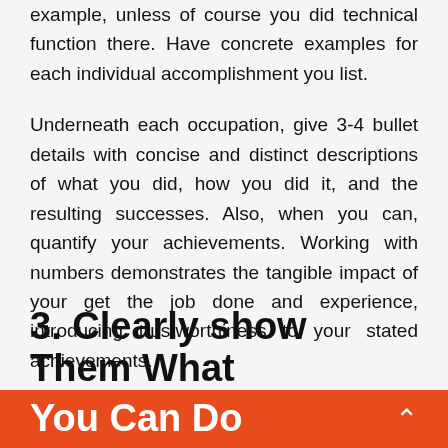example, unless of course you did technical function there. Have concrete examples for each individual accomplishment you list.
Underneath each occupation, give 3-4 bullet details with concise and distinct descriptions of what you did, how you did it, and the resulting successes. Also, when you can, quantify your achievements. Working with numbers demonstrates the tangible impact of your get the job done and experience, introducing trustworthiness to your stated achievements.
3. Clearly show Them What You Can Do